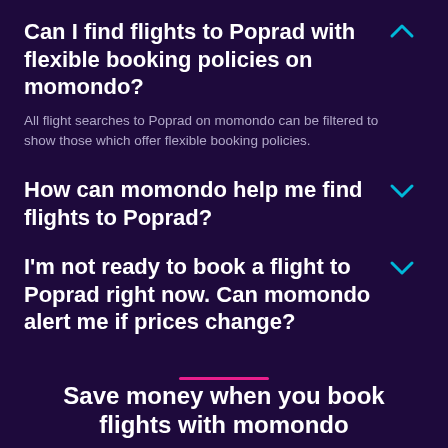Can I find flights to Poprad with flexible booking policies on momondo?
All flight searches to Poprad on momondo can be filtered to show those which offer flexible booking policies.
How can momondo help me find flights to Poprad?
I'm not ready to book a flight to Poprad right now. Can momondo alert me if prices change?
Save money when you book flights with momondo